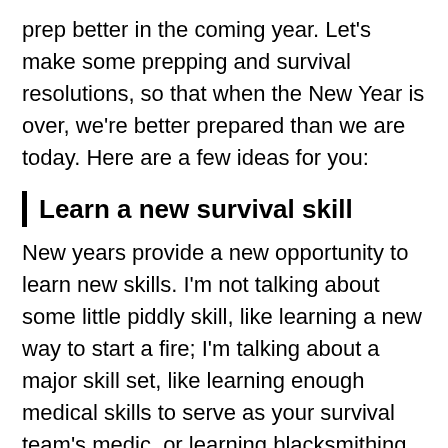prep better in the coming year. Let's make some prepping and survival resolutions, so that when the New Year is over, we're better prepared than we are today. Here are a few ideas for you:
Learn a new survival skill
New years provide a new opportunity to learn new skills. I'm not talking about some little piddly skill, like learning a new way to start a fire; I'm talking about a major skill set, like learning enough medical skills to serve as your survival team's medic, or learning blacksmithing. Something that will take some time and effort on your part, but also provide a real benefit to your family or survival team, when the time comes.
Get i...